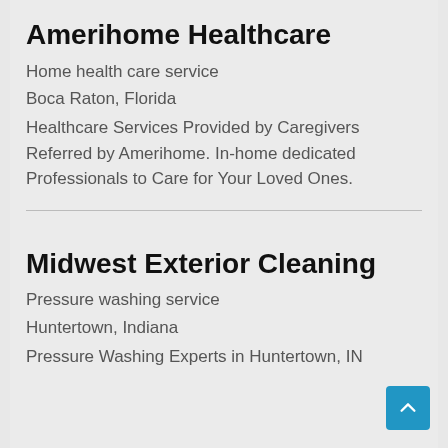Amerihome Healthcare
Home health care service
Boca Raton, Florida
Healthcare Services Provided by Caregivers Referred by Amerihome. In-home dedicated Professionals to Care for Your Loved Ones.
Midwest Exterior Cleaning
Pressure washing service
Huntertown, Indiana
Pressure Washing Experts in Huntertown, IN